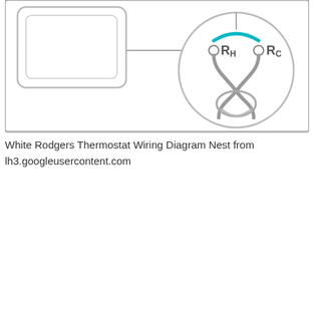[Figure (schematic): Partial thermostat wiring diagram showing a rectangular device outline on the left connected by a line to a circular terminal detail on the right. The circle shows two terminals labeled Rh and Rc with a cyan/teal colored bridge connector across the top of them, and gray wiring paths below inside the circle.]
White Rodgers Thermostat Wiring Diagram Nest from lh3.googleusercontent.com